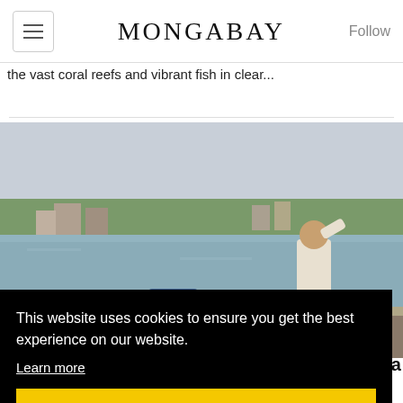MONGABAY
the vast coral reefs and vibrant fish in clear...
[Figure (photo): A man standing near a river or lake, wiping his forehead with a cloth. Buildings and trees visible on the opposite bank. Outdoor scene in India, hazy sky.]
This website uses cookies to ensure you get the best experience on our website. Learn more
Got it!
yana
BY SAT SINGH 26 MAY 2022